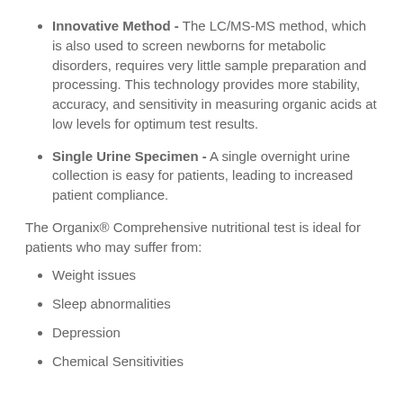Innovative Method - The LC/MS-MS method, which is also used to screen newborns for metabolic disorders, requires very little sample preparation and processing. This technology provides more stability, accuracy, and sensitivity in measuring organic acids at low levels for optimum test results.
Single Urine Specimen - A single overnight urine collection is easy for patients, leading to increased patient compliance.
The Organix® Comprehensive nutritional test is ideal for patients who may suffer from:
Weight issues
Sleep abnormalities
Depression
Chemical Sensitivities